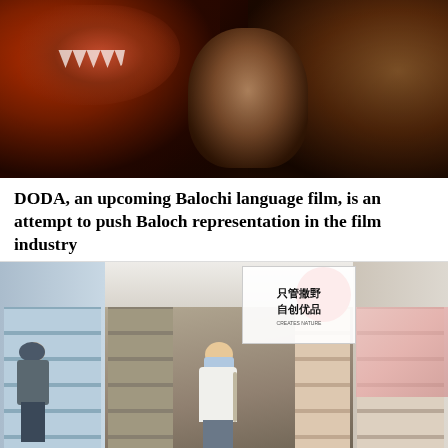[Figure (photo): Movie poster for DODA, a Balochi language film. Shows dramatic figures — a large creature or monster with open mouth on the left, and a young man's face in the center-right, against a dark fiery background with red and orange tones.]
DODA, an upcoming Balochi language film, is an attempt to push Baloch representation in the film industry
[Figure (photo): Interior of a retail store (appears to be a Chinese variety/lifestyle store). Shelves stocked with products line both sides. Shoppers wearing masks browse the aisles. A red circle logo and Chinese text signage visible in the upper right area reading '只管撒野 自创优品'.]